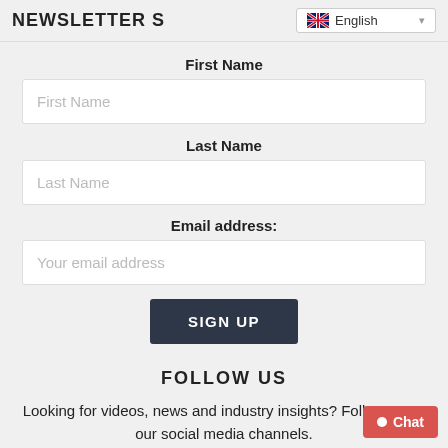NEWSLETTER S
🇬🇧 English ▾
First Name
First Name (placeholder)
Last Name
Last Name (placeholder)
Email address:
Your email address (placeholder)
SIGN UP
FOLLOW US
Looking for videos, news and industry insights? Follow us on our social media channels.
● Chat